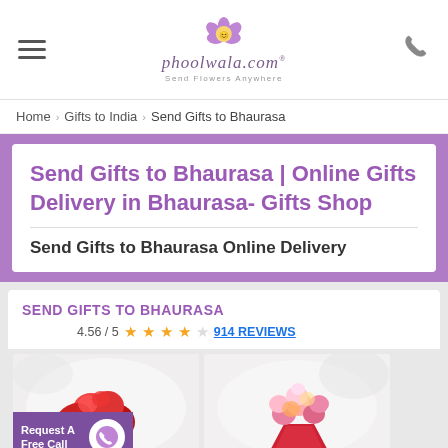phoolwala.com – Send Flowers Anywhere
Home › Gifts to India › Send Gifts to Bhaurasa
Send Gifts to Bhaurasa | Online Gifts Delivery in Bhaurasa- Gifts Shop
Send Gifts to Bhaurasa Online Delivery
SEND GIFTS TO BHAURASA
4.56 / 5 ★★★★☆ 914 REVIEWS
[Figure (photo): Red carnation flower bouquet on white background]
[Figure (photo): Mixed color roses bouquet in red wrapping on white background]